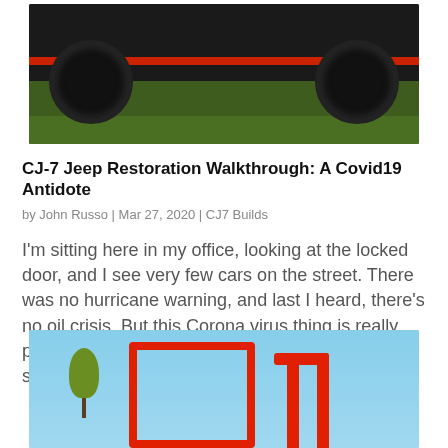[Figure (photo): Rear view of a black and red lifted Jeep CJ-7 on green grass, showing large off-road tires and red accent stripe]
CJ-7 Jeep Restoration Walkthrough: A Covid19 Antidote
by John Russo | Mar 27, 2020 | CJ7 Builds
I'm sitting here in my office, looking at the locked door, and I see very few cars on the street. There was no hurricane warning, and last I heard, there's no oil crisis. But this Corona virus thing is really pissing me off. I'm tired of this doom and gloom stuff. My...
[Figure (photo): Red Jeep CJ-7 against blue sky with bare tree visible, showing red roll bar and door frame]